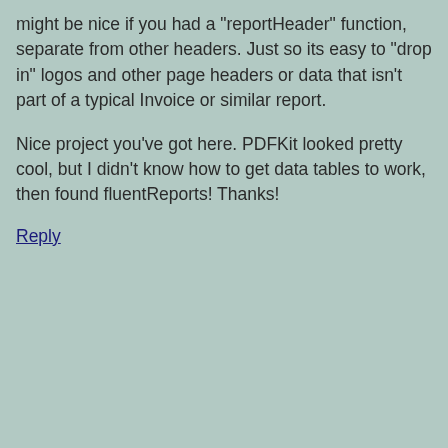might be nice if you had a "reportHeader" function, separate from other headers. Just so its easy to "drop in" logos and other page headers or data that isn't part of a typical Invoice or similar report.
Nice project you've got here. PDFKit looked pretty cool, but I didn't know how to get data tables to work, then found fluentReports! Thanks!
Reply